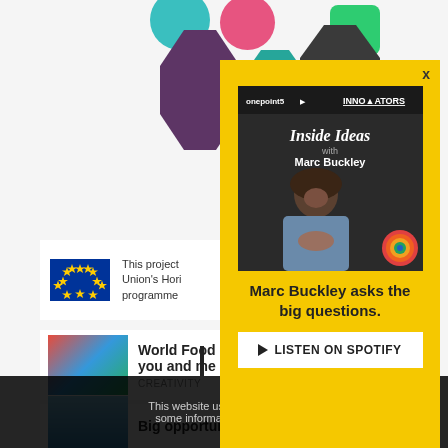[Figure (screenshot): Background webpage with colorful geometric shapes at top, EU flag with project text, article list items including 'World Food Day you and me' with CREATIVITY tag and 'Big opportunity', and cookie consent bar]
[Figure (illustration): Yellow popup overlay for 'Inside Ideas with Marc Buckley' podcast on Spotify, featuring podcast cover image with man smiling, onepoint5 and INNOVATORS logos, SDG wheel icon, tagline 'Marc Buckley asks the big questions.' and LISTEN ON SPOTIFY button]
This project
Union's Hori
programme
World Food Day
you and me
CREATIVITY
Big opportunity
Marc Buckley asks the big questions.
LISTEN ON SPOTIFY
This website uses cookies to in
some information using Goo